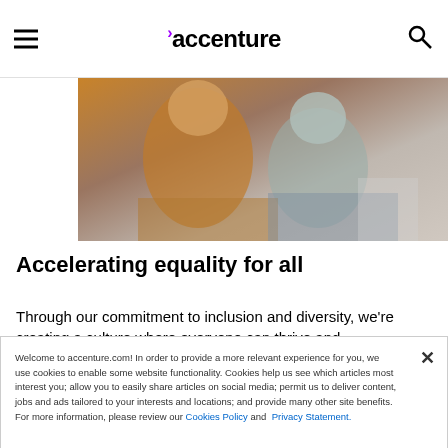accenture
[Figure (photo): Two people working together at a laptop, one wearing a hijab]
Accelerating equality for all
Through our commitment to inclusion and diversity, we're creating a culture where everyone can thrive and
Welcome to accenture.com! In order to provide a more relevant experience for you, we use cookies to enable some website functionality. Cookies help us see which articles most interest you; allow you to easily share articles on social media; permit us to deliver content, jobs and ads tailored to your interests and locations; and provide many other site benefits. For more information, please review our Cookies Policy and Privacy Statement.
❯ Cookies Settings
SEARCH JOBS | CAREERS BLOG | REGISTER FOR JOB ALERTS